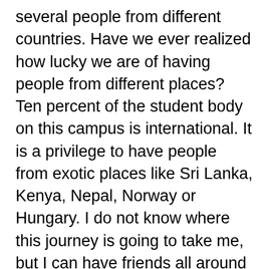several people from different countries. Have we ever realized how lucky we are of having people from different places? Ten percent of the student body on this campus is international. It is a privilege to have people from exotic places like Sri Lanka, Kenya, Nepal, Norway or Hungary. I do not know where this journey is going to take me, but I can have friends all around the world, and I know that they are going to help me in this journey, and I am going to help them as well. I think I have travelled a lot, and I never give importance to places I go, I believe that the most important thing is the people I meet in these trips.
But this has not been a bed of roses. I am